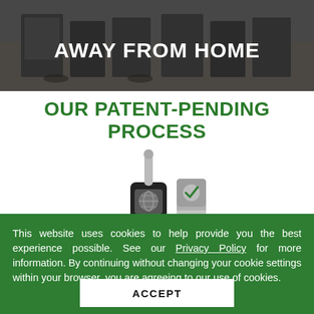[Figure (photo): Hero image of an office with chairs and desks, overlaid with white bold text reading 'AWAY FROM HOME' (partial heading visible)]
OUR PATENT-PENDING PROCESS
[Figure (illustration): Illustration of a breathalyzer device (black device with a tube) next to a test strip or result panel showing a green checkmark, a grey checkmark, and a yellow warning icon]
This website uses cookies to help provide you the best experience possible. See our Privacy Policy for more information. By continuing without changing your cookie settings within your browser, you are agreeing to our use of cookies.
ACCEPT